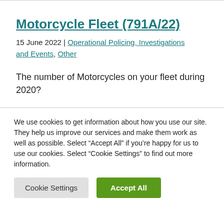Motorcycle Fleet (791A/22)
15 June 2022 | Operational Policing, Investigations and Events, Other
The number of Motorcycles on your fleet during 2020?
We use cookies to get information about how you use our site. They help us improve our services and make them work as well as possible. Select “Accept All” if you’re happy for us to use our cookies. Select “Cookie Settings” to find out more information.